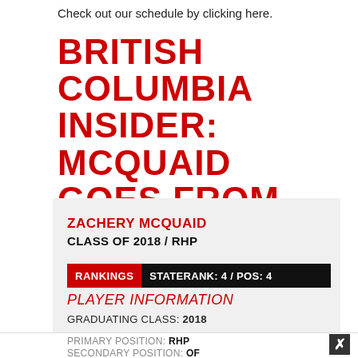Check out our schedule by clicking here.
BRITISH COLUMBIA INSIDER: MCQUAID GOES FROM EAST TO WEST COAST
ZACHERY MCQUAID
CLASS OF 2018 / RHP
RANKINGS  STATE RANK: 4 / POS: 4
PLAYER INFORMATION
GRADUATING CLASS: 2018
PRIMARY POSITION: RHP
SECONDARY POSITION: OF